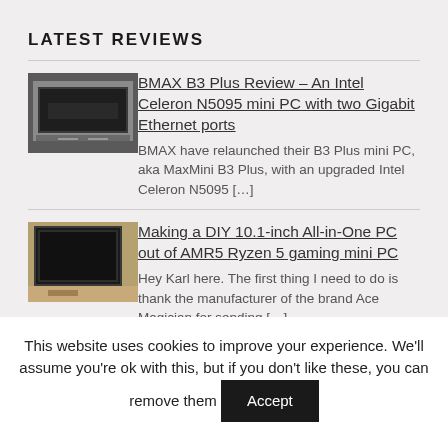LATEST REVIEWS
[Figure (photo): Thumbnail image of BMAX B3 Plus mini PC, a small silver/black rectangular device]
BMAX B3 Plus Review – An Intel Celeron N5095 mini PC with two Gigabit Ethernet ports
BMAX have relaunched their B3 Plus mini PC, aka MaxMini B3 Plus, with an upgraded Intel Celeron N5095 […]
[Figure (photo): Thumbnail image of a DIY 10.1-inch All-in-One PC build, showing a display mounted in a frame on a wooden surface]
Making a DIY 10.1-inch All-in-One PC out of AMR5 Ryzen 5 gaming mini PC
Hey Karl here. The first thing I need to do is thank the manufacturer of the brand Ace Magician for sending […]
This website uses cookies to improve your experience. We'll assume you're ok with this, but if you don't like these, you can remove them  Accept